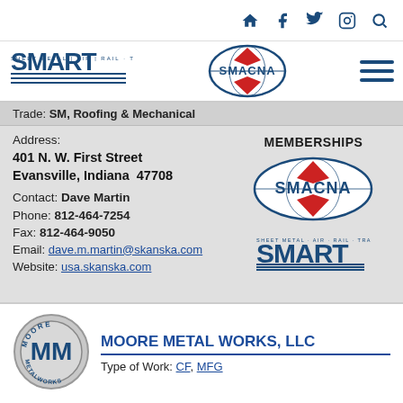Navigation bar with home, facebook, twitter, instagram, search icons
[Figure (logo): SMART union logo and SMACNA logo in white header bar]
Trade: SM, Roofing & Mechanical
Address:
401 N. W. First Street
Evansville, Indiana  47708
Contact: Dave Martin
Phone: 812-464-7254
Fax: 812-464-9050
Email: dave.m.martin@skanska.com
Website: usa.skanska.com
MEMBERSHIPS
[Figure (logo): SMACNA logo membership badge]
[Figure (logo): SMART union logo membership badge]
[Figure (logo): Moore Metal Works LLC circular logo with MM letters]
MOORE METAL WORKS, LLC
Type of Work: CF, MFG